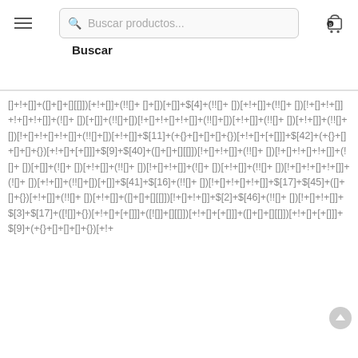[Figure (screenshot): Website header with hamburger menu, search box reading 'Buscar productos...' and a cart icon with 0 items]
Buscar
[]+!+[]]+([]+[]+[][[]])[+!+[]]+(!![]+ []+[])[+[]]+$[4]+(!![]+ [][+!+[]]+(!![]+ [])[!+[]+ !+[]]+!+[]]+(![]+ [])[+[]]+(!![]+[])[! +[]+!+[]+!+[]]+(!![]+[])[+!+[]]+(!![]+ [])[+!+[]]+(!![]+ [])[!+ []+!+[]+!+[]]+(!![]+[])[+!+[]]+$[11]+(+{}+[]+[]+[]+{})[+!+[]+[+[]]]+$[42]+(+{}+[]+[]+[]+{})[+!+[]+[+[]]]+$[9]+$[40]+([]+[]+[][[]])[!+[]+!+[]]+(!![]+ [])[!+[]+!+[]+!+[]]+(![]+ [])[+[]]+(![]+ [])[+!+[]]+(!![]+ [])[!+[]+!+[]]+(![]+ [])[+!+[]]+(!![]+[])[+[]]+$[41]+$[16]+(!![]+ [])[!+ []+!+[]+!+[]]+$[17]+$[45]+([]+[]+{})[+!+[]]+(!![]+ [])[+!+[]]+([]+[]+[][[]])[!+[]+!+[]]+$[2]+$[46]+(!![]+ [])[!+[]+!+ []]+$[3]+$[17]+([![]]+{})[+!+[]+[+[]]]+([![]]+[][[]])[+!+[]+[+[]]]+([]+[]+[][[]])[+!+[]+[+[]]]+$[9]+(+{}+[]+[]+[]+{})[+!+